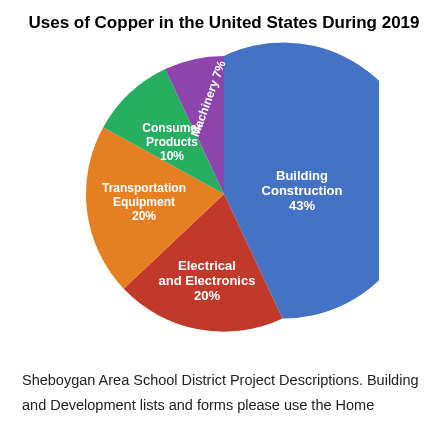[Figure (pie-chart): Uses of Copper in the United States During 2019]
Sheboygan Area School District Project Descriptions. Building and Development lists and forms please use the Home